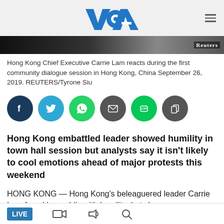[Figure (logo): VOA (Voice of America) logo in blue]
[Figure (photo): Partial photo of Carrie Lam with Reuters watermark on black background strip]
Hong Kong Chief Executive Carrie Lam reacts during the first community dialogue session in Hong Kong, China September 26, 2019. REUTERS/Tyrone Siu
[Figure (infographic): Social media sharing icons: Facebook, Twitter, WhatsApp, Email, Line, Copy]
Hong Kong embattled leader showed humility in town hall session but analysts say it isn't likely to cool emotions ahead of major protests this weekend
HONG KONG — Hong Kong's beleaguered leader Carrie Lam faced her public with humility, but she may
[Figure (infographic): Bottom navigation bar with LIVE badge, video icon, audio icon, and search icon]